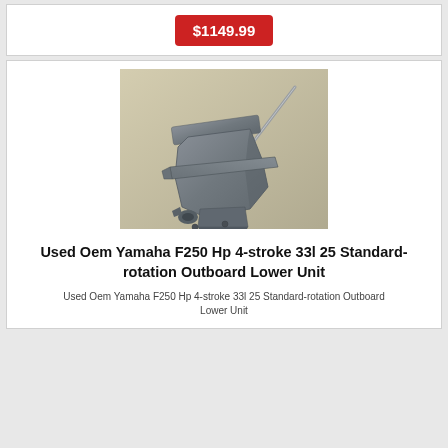$1149.99
[Figure (photo): Photo of a used OEM Yamaha F250 Hp 4-stroke outboard lower unit, metallic gray/blue color, shown at an angle against a tan/brown background]
Used Oem Yamaha F250 Hp 4-stroke 33l 25 Standard-rotation Outboard Lower Unit
Used Oem Yamaha F250 Hp 4-stroke 33l 25 Standard-rotation Outboard Lower Unit